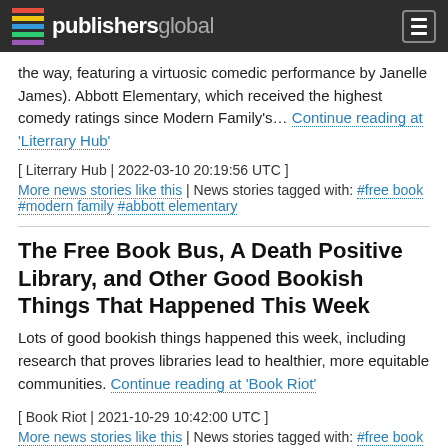publishersglobal
the way, featuring a virtuosic comedic performance by Janelle James). Abbott Elementary, which received the highest comedy ratings since Modern Family's... Continue reading at 'Literrary Hub'
[ Literrary Hub | 2022-03-10 20:19:56 UTC ]
More news stories like this | News stories tagged with: #free book #modern family #abbott elementary
The Free Book Bus, A Death Positive Library, and Other Good Bookish Things That Happened This Week
Lots of good bookish things happened this week, including research that proves libraries lead to healthier, more equitable communities. Continue reading at 'Book Riot'
[ Book Riot | 2021-10-29 10:42:00 UTC ]
More news stories like this | News stories tagged with: #free book